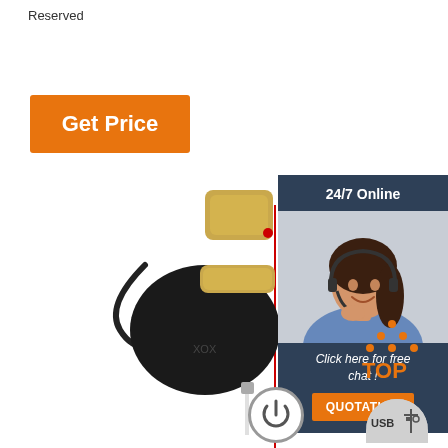Reserved
Get Price
[Figure (photo): Black and gold electronic device (vibrator/massager) with USB cable and remote controller, product photo on white background with red vertical line annotation]
[Figure (photo): Customer service widget: 24/7 Online banner with photo of woman wearing headset, Click here for free chat!, QUOTATION button]
[Figure (illustration): TOP icon with orange dots forming arrow up and word TOP in orange]
[Figure (illustration): USB icon in grey rounded rectangle]